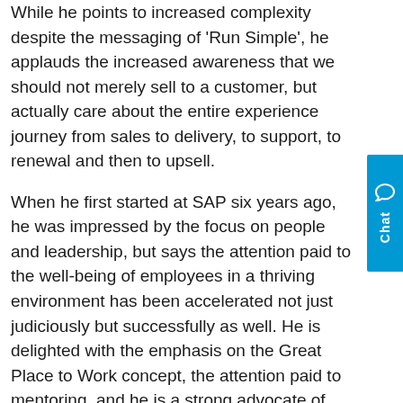While he points to increased complexity despite the messaging of 'Run Simple', he applauds the increased awareness that we should not merely sell to a customer, but actually care about the entire experience journey from sales to delivery, to support, to renewal and then to upsell.
When he first started at SAP six years ago, he was impressed by the focus on people and leadership, but says the attention paid to the well-being of employees in a thriving environment has been accelerated not just judiciously but successfully as well. He is delighted with the emphasis on the Great Place to Work concept, the attention paid to mentoring, and he is a strong advocate of Diversity and Inclusion, One Billion Lives, innovation and female representation.
He views the last three to four years as a period when SAP has done a "phenomenal job with the operational basics" – implementing SuccessFactors, setting...